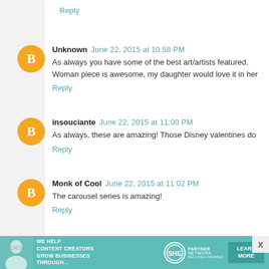Reply
Unknown  June 22, 2015 at 10:58 PM
As always you have some of the best art/artists featured. Woman piece is awesome, my daughter would love it in her
Reply
insouciante  June 22, 2015 at 11:00 PM
As always, these are amazing! Those Disney valentines do
Reply
Monk of Cool  June 22, 2015 at 11:02 PM
The carousel series is amazing!
Reply
mochaday  June 22, 2015 at 11:02 PM
[Figure (infographic): SHE Partner Network advertisement banner: teal background with a woman photo, text 'WE HELP CONTENT CREATORS GROW BUSINESSES THROUGH...', SHE logo, PARTNER NETWORK, BECOME A MEMBER, LEARN MORE button, and X close button.]